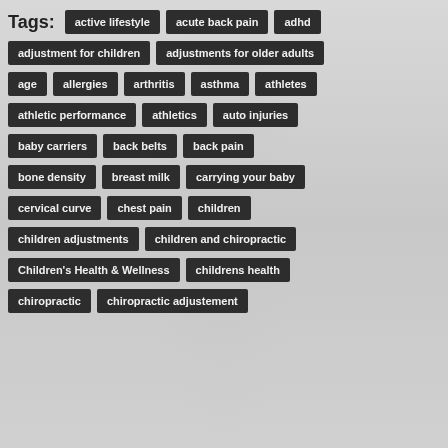Tags: active lifestyle | acute back pain | adhd | adjustment for children | adjustments for older adults | age | allergies | arthritis | asthma | athletes | athletic performance | athletics | auto injuries | baby carriers | back belts | back pain | bone density | breast milk | carrying your baby | cervical curve | chest pain | children | children adjustments | children and chiropractic | Children's Health & Wellness | childrens health | chiropractic | chiropractic adjustement